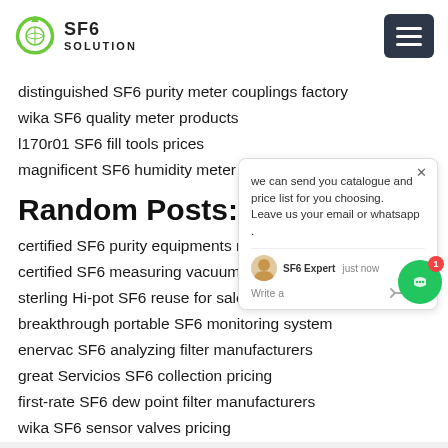SF6 SOLUTION
distinguished SF6 purity meter couplings factory
wika SF6 quality meter products
l170r01 SF6 fill tools prices
magnificent SF6 humidity meter plants p…
Random Posts:
certified SF6 purity equipments manuf…
certified SF6 measuring vacuum
sterling Hi-pot SF6 reuse for sale
breakthrough portable SF6 monitoring system
enervac SF6 analyzing filter manufacturers
great Servicios SF6 collection pricing
first-rate SF6 dew point filter manufacturers
wika SF6 sensor valves pricing
[Figure (other): SF6 Solution logo with green circular recycling arrows icon]
[Figure (other): Dark hamburger menu button with three white horizontal lines]
[Figure (other): Live chat popup from SF6 Expert saying we can send you catalogue and price list for you choosing. Leave us your email or whatsapp. With avatar and thumbs up/paperclip icons.]
[Figure (other): Green circular chat widget with notification badge showing 1]